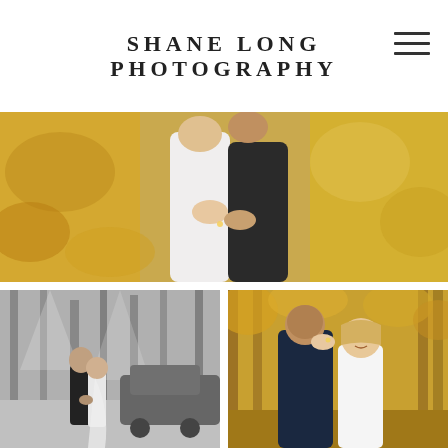SHANE LONG PHOTOGRAPHY
[Figure (photo): Close-up of bride and groom embracing outdoors among autumn leaves, bride in white off-shoulder gown, groom in black suit, warm golden bokeh background]
[Figure (photo): Black and white photo of bride and groom walking hand in hand in a parking area with tall pine trees in the background]
[Figure (photo): Color photo of groom in navy suit embracing bride from behind, both smiling, autumn trees with golden foliage in background]